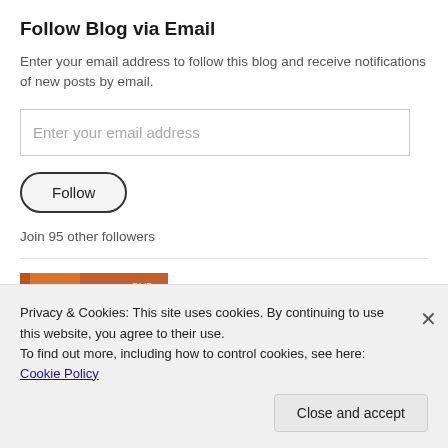Follow Blog via Email
Enter your email address to follow this blog and receive notifications of new posts by email.
Enter your email address
Follow
Join 95 other followers
[Figure (photo): Thumbnail image of a person with red hair and green eyes, partially visible]
Privacy & Cookies: This site uses cookies. By continuing to use this website, you agree to their use.
To find out more, including how to control cookies, see here: Cookie Policy
Close and accept